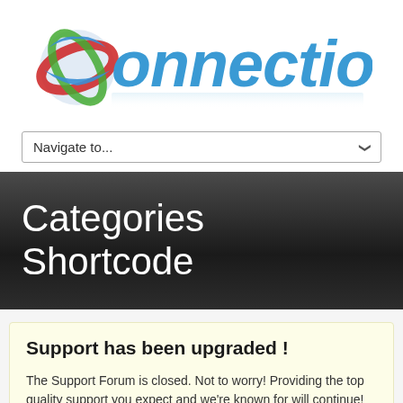[Figure (logo): Connections logo with colorful globe icon and blue italic text reading 'Connections']
Navigate to...
Categories Shortcode
Support has been upgraded!
The Support Forum is closed. Not to worry!  Providing the top quality support you expect and we're known for will continue! We're not...